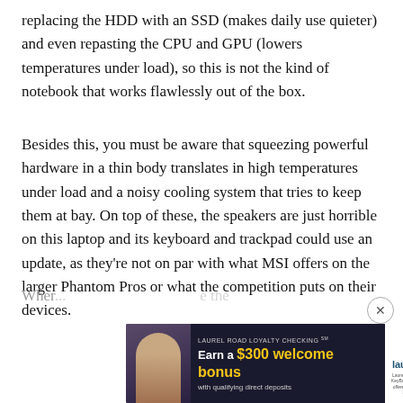replacing the HDD with an SSD (makes daily use quieter) and even repasting the CPU and GPU (lowers temperatures under load), so this is not the kind of notebook that works flawlessly out of the box.
Besides this, you must be aware that squeezing powerful hardware in a thin body translates in high temperatures under load and a noisy cooling system that tries to keep them at bay. On top of these, the speakers are just horrible on this laptop and its keyboard and trackpad could use an update, as they're not on par with what MSI offers on the larger Phantom Pros or what the competition puts on their devices.
[Figure (other): Advertisement banner for Laurel Road Loyalty Checking. Text: 'LAUREL ROAD LOYALTY CHECKING℠ Earn a $300 welcome bonus with qualifying direct deposits'. Laurel Road logo on right. Photo of woman on left.]
Wher... ...e the P...